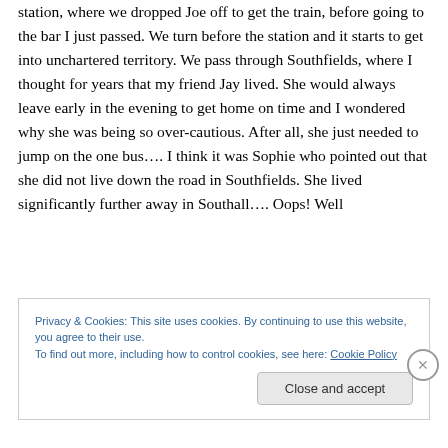station, where we dropped Joe off to get the train, before going to the bar I just passed. We turn before the station and it starts to get into unchartered territory. We pass through Southfields, where I thought for years that my friend Jay lived. She would always leave early in the evening to get home on time and I wondered why she was being so over-cautious. After all, she just needed to jump on the one bus…. I think it was Sophie who pointed out that she did not live down the road in Southfields. She lived significantly further away in Southall…. Oops! Well
Privacy & Cookies: This site uses cookies. By continuing to use this website, you agree to their use.
To find out more, including how to control cookies, see here: Cookie Policy